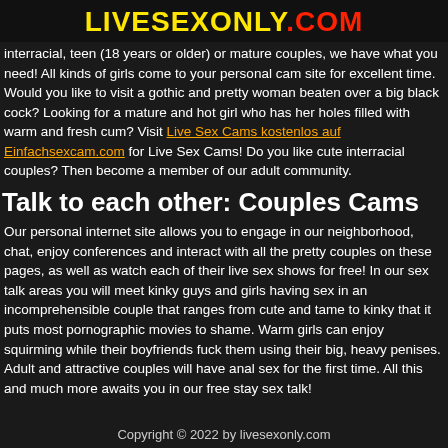LIVESEXONLY.COM
interracial, teen (18 years or older) or mature couples, we have what you need! All kinds of girls come to your personal cam site for excellent time. Would you like to visit a gothic and pretty woman beaten over a big black cock? Looking for a mature and hot girl who has her holes filled with warm and fresh cum? Visit Live Sex Cams kostenlos auf Einfachsexcam.com for Live Sex Cams! Do you like cute interracial couples? Then become a member of our adult community.
Talk to each other: Couples Cams
Our personal internet site allows you to engage in our neighborhood, chat, enjoy conferences and interact with all the pretty couples on these pages, as well as watch each of their live sex shows for free! In our sex talk areas you will meet kinky guys and girls having sex in an incomprehensible couple that ranges from cute and tame to kinky that it puts most pornographic movies to shame. Warm girls can enjoy squirming while their boyfriends fuck them using their big, heavy penises. Adult and attractive couples will have anal sex for the first time. All this and much more awaits you in our free stay sex talk!
Copyright © 2022 by livesexonly.com